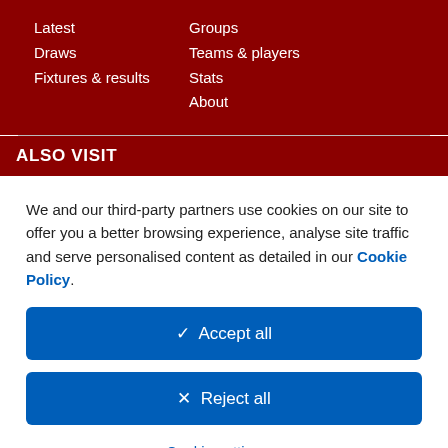Latest
Draws
Fixtures & results
Groups
Teams & players
Stats
About
ALSO VISIT
We and our third-party partners use cookies on our site to offer you a better browsing experience, analyse site traffic and serve personalised content as detailed in our Cookie Policy.
✓  Accept all
✕  Reject all
Cookie settings >